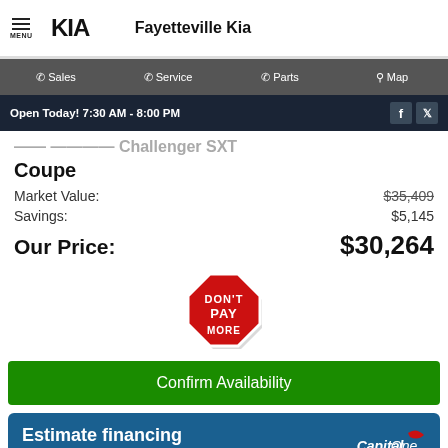Fayetteville Kia
Sales | Service | Parts | Map
Open Today! 7:30 AM - 8:00 PM
... Dodge Challenger SXT Coupe
Market Value: $35,409
Savings: $5,145
Our Price: $30,264
[Figure (illustration): Red stop sign octagon with white text 'DON'T PAY MORE']
Confirm Availability
Estimate financing
No impact to your credit score